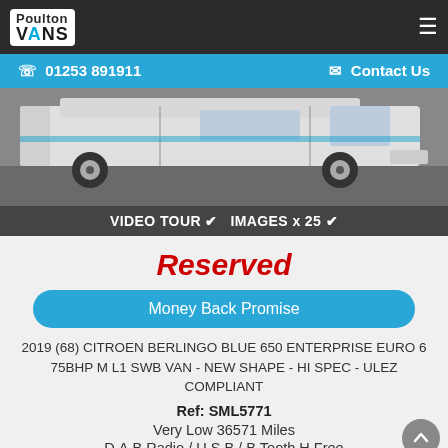Poulton VANS | 01253 891911 | Contact Us
[Figure (photo): Side view of a white Citroen Berlingo van parked on a grey surface]
VIDEO TOUR ✔ IMAGES x 25 ✔
Reserved
Money Back Promise
2019 (68) CITROEN BERLINGO BLUE 650 ENTERPRISE EURO 6 75BHP M L1 SWB VAN - NEW SHAPE - HI SPEC - ULEZ COMPLIANT
Ref: SML5771
Very Low 36571 Miles
D.A.B Radio / U.S.B / B.Tooth H.Free
Apple Carplay / Air Con / Cruise Control